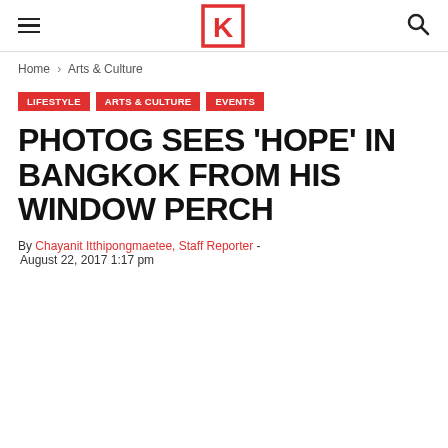[hamburger menu] [K logo] [search icon]
Home › Arts & Culture
LIFESTYLE
ARTS & CULTURE
EVENTS
PHOTOG SEES 'HOPE' IN BANGKOK FROM HIS WINDOW PERCH
By Chayanit Itthipongmaetee, Staff Reporter - August 22, 2017 1:17 pm